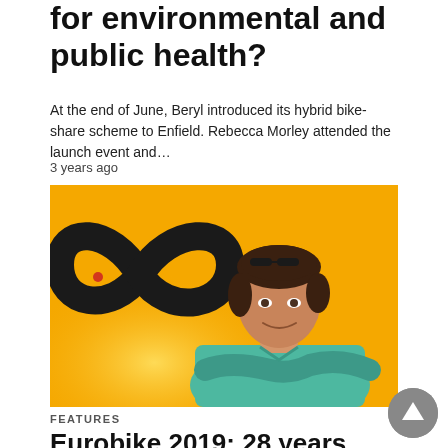for environmental and public health?
At the end of June, Beryl introduced its hybrid bike-share scheme to Enfield. Rebecca Morley attended the launch event and…
3 years ago
[Figure (photo): Man in teal polo shirt standing in front of a bright yellow background with a black infinity-style logo/ribbon decoration. The man has dark hair and sunglasses on his head.]
FEATURES
Eurobike 2019: 28 years and